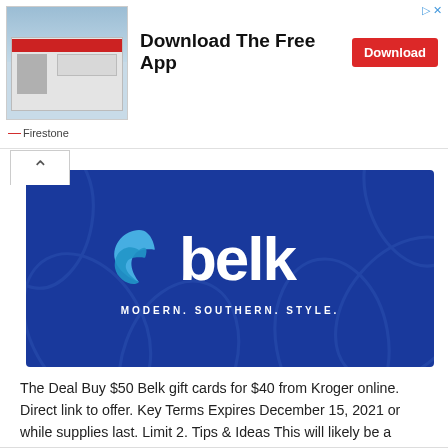[Figure (illustration): Firestone auto care store advertisement banner with store photo on left, 'Download The Free App' text and red Download button on right]
[Figure (logo): Belk store gift card image with dark blue background, Belk logo with blue leaf icon, and 'MODERN. SOUTHERN. STYLE.' tagline]
The Deal Buy $50 Belk gift cards for $40 from Kroger online. Direct link to offer. Key Terms Expires December 15, 2021 or while supplies last. Limit 2. Tips & Ideas This will likely be a popular deal and so might sell out before its expiry date of December 15. … [Read more...]